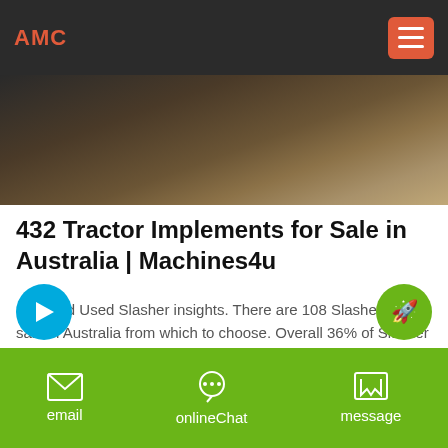AMC
[Figure (photo): Partial view of a tractor implement on a gravel/dirt surface, dark tones]
432 Tractor Implements for Sale in Australia | Machines4u
New and Used Slasher insights. There are 108 Slasher for sale in Australia from which to choose. Overall 36% of Slasher buyers enquire on only used listings, 57% on new and 6.38% on both new and used Slasher items.Buyers usually enquire on 1.25 different ...
email  onlineChat  message